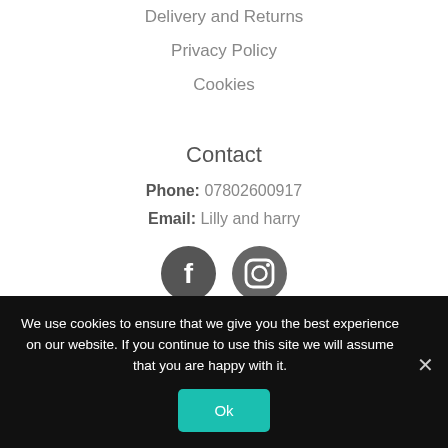Delivery and Returns
Privacy Policy
Cookies
Contact
Phone: 07802600917
Email: Lilly and harry
[Figure (other): Facebook and Instagram social media icons]
We use cookies to ensure that we give you the best experience on our website. If you continue to use this site we will assume that you are happy with it.
Ok